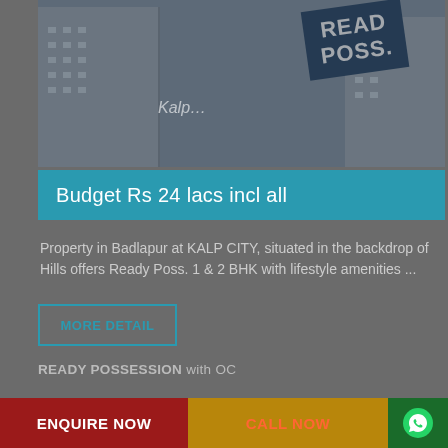[Figure (photo): Exterior photo of Kalp City residential building in Badlapur with a 'Ready Poss.' banner visible in the foreground]
Budget Rs 24 lacs incl all
Property in Badlapur at KALP CITY, situated in the backdrop of Hills offers Ready Poss. 1 & 2 BHK with lifestyle amenities ...
MORE DETAIL
READY POSSESSION with OC
ROYAL HERITAGE, VANGANI
ENQUIRE NOW
CALL NOW